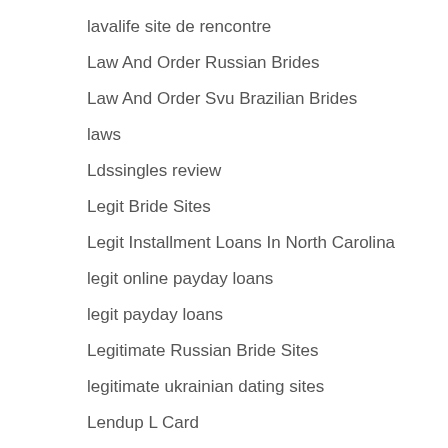lavalife kostenlos
lavalife site de rencontre
Law And Order Russian Brides
Law And Order Svu Brazilian Brides
laws
Ldssingles review
Legit Bride Sites
Legit Installment Loans In North Carolina
legit online payday loans
legit payday loans
Legitimate Russian Bride Sites
legitimate ukrainian dating sites
Lendup L Card
Lendup Login
leovegas-online.com
Lesbian Cam Chat Rooms